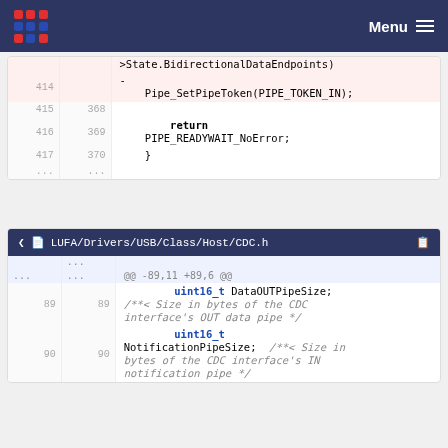Menu
| old line | new line | code |
| --- | --- | --- |
|  |  | >State.BidirectionalDataEndpoints) |
| 414 |  | -  Pipe_SetPipeToken(PIPE_TOKEN_IN); |
| 415 | 368 |  |
| 416 | 369 |         return PIPE_READYWAIT_NoError; |
| 417 | 370 |     } |
| ... | ... |  |
LUFA/Drivers/USB/Class/Host/CDC.h
| old line | new line | code |
| --- | --- | --- |
| ... | ... | @@ -89,11 +89,6 @@ |
| 89 | 89 |             uint16_t DataOUTPipeSize; |
|  |  | /**< Size in bytes of the CDC interface's OUT data pipe */ |
| 90 | 90 |             uint16_t NotificationPipeSize;  /**< Size in bytes of the CDC interface's IN notification pipe */ |